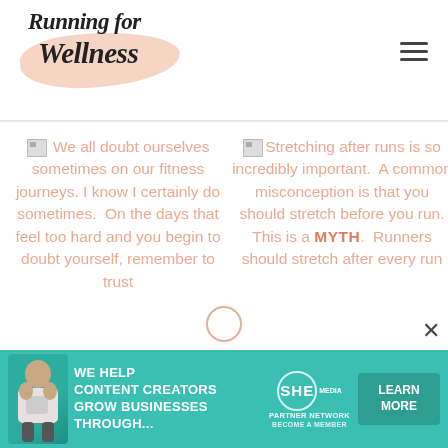Running for Wellness
We all doubt ourselves sometimes on our fitness journeys. I know I certainly do sometimes. On the days that feel too hard and you begin to doubt yourself, remember to trust
Stretching after runs is so incredibly important. A common misconception is that you should stretch before you run. This is a MYTH. Runners should stretch after every run
[Figure (infographic): Ad banner: SHE Media Partner Network — We help content creators grow businesses through... Learn More button]
[Figure (infographic): Partial broken image thumbnails at bottom of content grid]